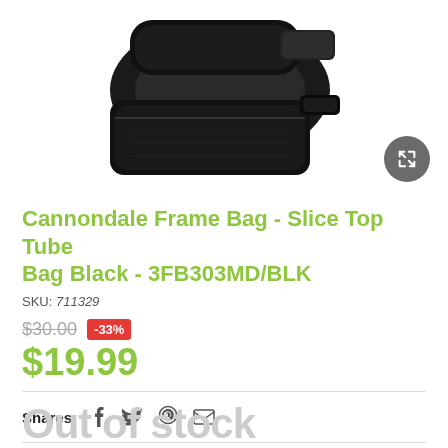[Figure (photo): Black Cannondale frame bag / top tube bag shown against white background with an expand/zoom button in bottom right corner]
Cannondale Frame Bag - Slice Top Tube Bag Black - 3FB303MD/BLK
SKU: 711329
$30.00 -33% $19.99
Shares:
Out of stock